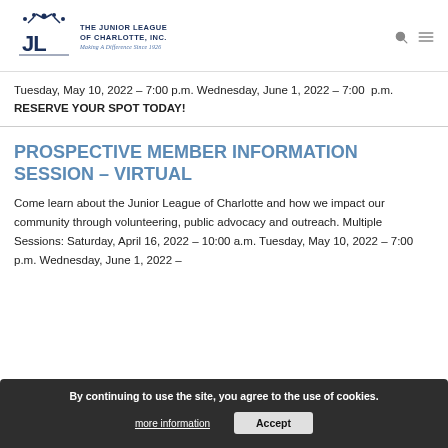The Junior League of Charlotte, Inc. — Making A Difference Since 1926
Tuesday, May 10, 2022 – 7:00 p.m. Wednesday, June 1, 2022 – 7:00 p.m. RESERVE YOUR SPOT TODAY!
PROSPECTIVE MEMBER INFORMATION SESSION – VIRTUAL
Come learn about the Junior League of Charlotte and how we impact our community through volunteering, public advocacy and outreach. Multiple Sessions: Saturday, April 16, 2022 – 10:00 a.m. Tuesday, May 10, 2022 – 7:00 p.m. Wednesday, June 1, 2022 – 7:00 p.m. RESERVE YOUR SPOT TODAY!
By continuing to use the site, you agree to the use of cookies. more information  Accept